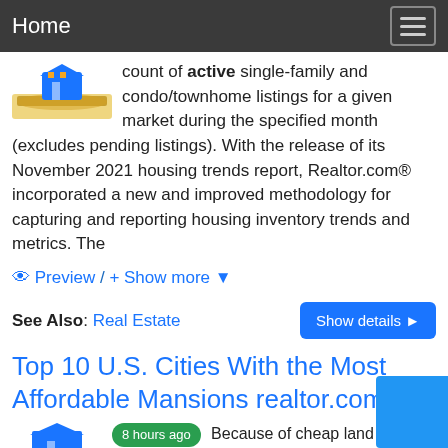Home
count of active single-family and condo/townhome listings for a given market during the specified month (excludes pending listings). With the release of its November 2021 housing trends report, Realtor.com® incorporated a new and improved methodology for capturing and reporting housing inventory trends and metrics. The
👁 Preview / + Show more ▾
See Also: Real Estate   Show details ▶
Top 10 U.S. Cities With the Most Affordable Mansions realtor.com
8 hours ago   Because of cheap land